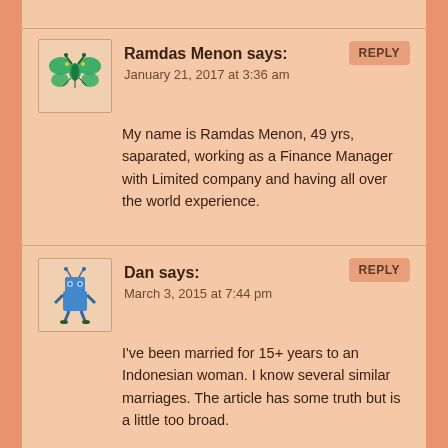Ramdas Menon says:
January 21, 2017 at 3:36 am
My name is Ramdas Menon, 49 yrs, saparated, working as a Finance Manager with Limited company and having all over the world experience.
Dan says:
March 3, 2015 at 7:44 pm
I've been married for 15+ years to an Indonesian woman. I know several similar marriages. The article has some truth but is a little too broad.
Indonesians fall into two top level groups: native